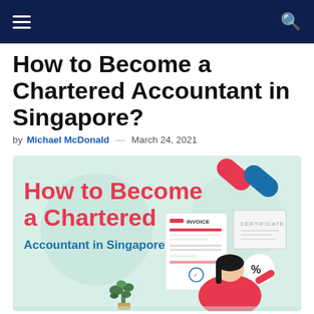Navigation bar with hamburger menu and search icon
How to Become a Chartered Accountant in Singapore?
by Michael McDonald — March 24, 2021
[Figure (infographic): Infographic with text 'How to Become a Chartered Accountant in Singapore?' on a mint green background, featuring an illustrated woman in a red top holding documents, an invoice document, a certificate, decorative pills/capsule shapes in red and teal, a percentage bubble, and a plant illustration.]